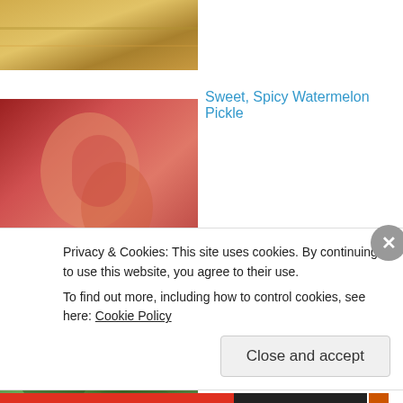[Figure (photo): Partial top image of food, possibly a baked item]
Sweet, Spicy Watermelon Pickle
[Figure (photo): Jar of pickled watermelon with red pieces]
Fiery Fig Chutney Recipe
[Figure (photo): Green leafy herbs or plants]
Grandad's Pickled Onions
[Figure (photo): Partial image of handwritten notes or paper]
Privacy & Cookies: This site uses cookies. By continuing to use this website, you agree to their use.
To find out more, including how to control cookies, see here: Cookie Policy
Close and accept